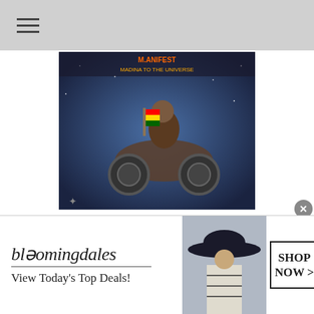≡
[Figure (photo): Album cover art showing a person riding a futuristic motorcycle in space, holding a Ghanaian flag, with text 'M.ANIFEST' visible at the top.]
MTTU
Prod. MikeMillzOn'Em
The album title was birthed from a lyric on this song; "Madina to the universe on every verse." It's about being a
[Figure (screenshot): Bloomingdale's advertisement banner with text 'bloomingdales', 'View Today's Top Deals!', image of a woman in a wide-brim hat, and a 'SHOP NOW >' call-to-action button.]